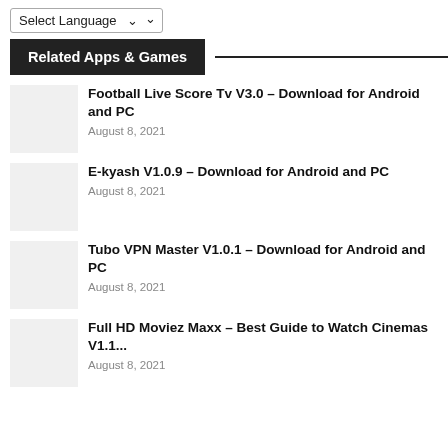Related Apps & Games
Football Live Score Tv V3.0 – Download for Android and PC
August 8, 2021
E-kyash V1.0.9 – Download for Android and PC
August 8, 2021
Tubo VPN Master V1.0.1 – Download for Android and PC
August 8, 2021
Full HD Moviez Maxx – Best Guide to Watch Cinemas V1.1...
August 8, 2021